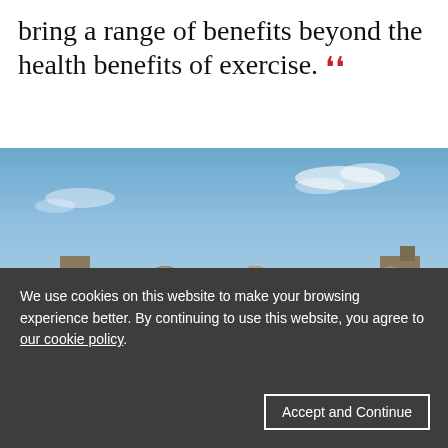bring a range of benefits beyond the health benefits of exercise. ””
[Figure (photo): A group of male football/soccer players in blue jerseys (numbered 3, 2, 4 visible) huddled together on a grass pitch, viewed from behind, with a blue sky and houses/trees in the background.]
We use cookies on this website to make your browsing experience better. By continuing to use this website, you agree to our cookie policy.
Accept and Continue